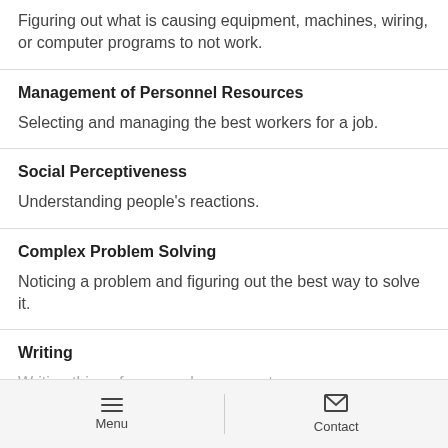Figuring out what is causing equipment, machines, wiring, or computer programs to not work.
Management of Personnel Resources
Selecting and managing the best workers for a job.
Social Perceptiveness
Understanding people's reactions.
Complex Problem Solving
Noticing a problem and figuring out the best way to solve it.
Writing
Writing things for co-workers or customers...
Menu | Contact